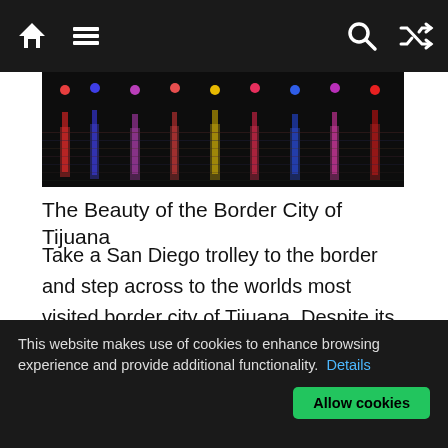Navigation bar with home, menu, search, and shuffle icons
[Figure (photo): Night cityscape photo showing colorful lights reflecting on water — reds, blues, and purples from city lights along a waterfront]
The Beauty of the Border City of Tijuana
Take a San Diego trolley to the border and step across to the worlds most visited border city of Tijuana. Despite its close proximity to the US, Mexico vacations in sunny Tijuana allows you to shop at the legendary Avenida Revolucion where you will find the amazing bargains of beautiful Mexican handicrafts, leather goods, cigars, silver, beadwork, jewelry together with imported goods at bargain prices. You can learn so much more about the culture of Mexico by
This website makes use of cookies to enhance browsing experience and provide additional functionality. Details Allow cookies